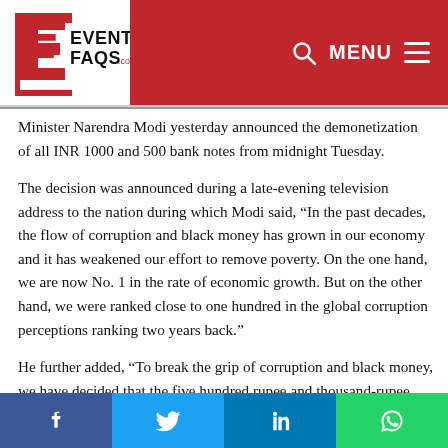[Figure (logo): EventFAQs.com logo with red E on white background and red banner with search and menu icons]
Minister Narendra Modi yesterday announced the demonetization of all INR 1000 and 500 bank notes from midnight Tuesday.
The decision was announced during a late-evening television address to the nation during which Modi said, “In the past decades, the flow of corruption and black money has grown in our economy and it has weakened our effort to remove poverty. On the one hand, we are now No. 1 in the rate of economic growth. But on the other hand, we were ranked close to one hundred in the global corruption perceptions ranking two years back.”
He further added, “To break the grip of corruption and black money, we have decided that the five hundred rupee and thousand-rupee currency notes presently in use will no longer be legal tender from midnight tonight (8th November 2016). This means that these notes will not be acceptable for transactions from midnight onwards. The five hundred and thousand rupee notes hoarded by anti-national and
Facebook | Twitter | LinkedIn | WhatsApp